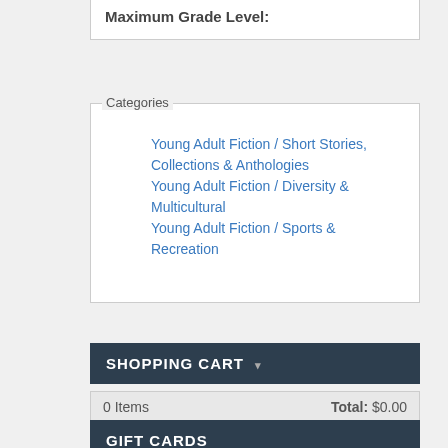Maximum Grade Level:
Categories
Young Adult Fiction / Short Stories, Collections & Anthologies
Young Adult Fiction / Diversity & Multicultural
Young Adult Fiction / Sports & Recreation
SHOPPING CART
0 Items    Total: $0.00
GIFT CARDS